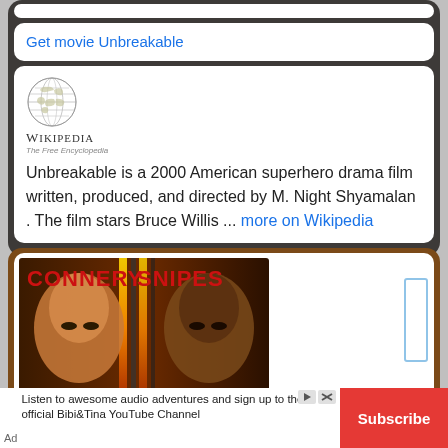Get movie Unbreakable
Unbreakable is a 2000 American superhero drama film written, produced, and directed by M. Night Shyamalan . The film stars Bruce Willis ... more on Wikipedia
[Figure (photo): Movie poster showing two faces side by side with text CONNERY SNIPES in red letters]
Listen to awesome audio adventures and sign up to the official Bibi&Tina YouTube Channel
Subscribe